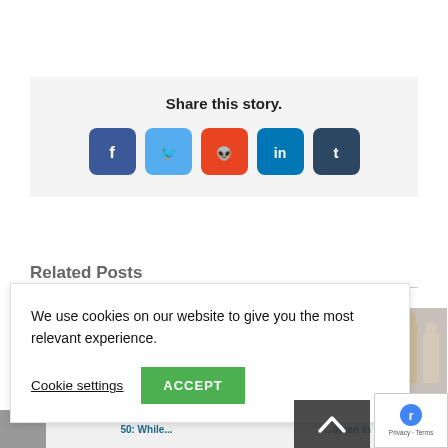[Figure (other): Share this story social media buttons: Facebook, Twitter, Reddit, LinkedIn, Tumblr]
Related Posts
We use cookies on our website to give you the most relevant experience.
Cookie settings   ACCEPT
[Figure (photo): Women in photo collage, related post thumbnail]
[Figure (other): Scroll up arrow button]
[Figure (other): reCAPTCHA badge with Privacy and Terms text]
Women in